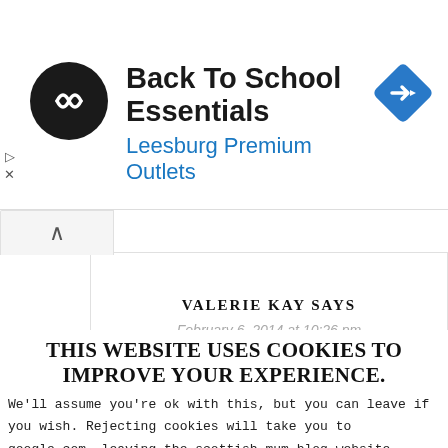[Figure (screenshot): Advertisement banner for Back To School Essentials at Leesburg Premium Outlets, with a circular black logo with double arrow symbol, blue navigation arrow icon, and small play/close controls.]
VALERIE KAY SAYS
February 6, 2014 at 10:26 pm
THIS WEBSITE USES COOKIES TO IMPROVE YOUR EXPERIENCE.
We'll assume you're ok with this, but you can leave if you wish. Rejecting cookies will take you to google.com, leaving the scottish mum blog website. Accept Reject Read More